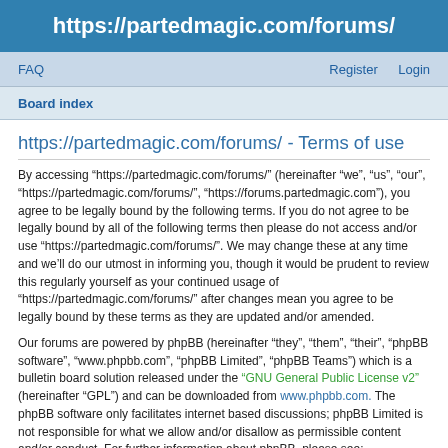https://partedmagic.com/forums/
FAQ    Register    Login
Board index
https://partedmagic.com/forums/ - Terms of use
By accessing “https://partedmagic.com/forums/” (hereinafter “we”, “us”, “our”, “https://partedmagic.com/forums/”, “https://forums.partedmagic.com”), you agree to be legally bound by the following terms. If you do not agree to be legally bound by all of the following terms then please do not access and/or use “https://partedmagic.com/forums/”. We may change these at any time and we’ll do our utmost in informing you, though it would be prudent to review this regularly yourself as your continued usage of “https://partedmagic.com/forums/” after changes mean you agree to be legally bound by these terms as they are updated and/or amended.
Our forums are powered by phpBB (hereinafter “they”, “them”, “their”, “phpBB software”, “www.phpbb.com”, “phpBB Limited”, “phpBB Teams”) which is a bulletin board solution released under the “GNU General Public License v2” (hereinafter “GPL”) and can be downloaded from www.phpbb.com. The phpBB software only facilitates internet based discussions; phpBB Limited is not responsible for what we allow and/or disallow as permissible content and/or conduct. For further information about phpBB, please see: